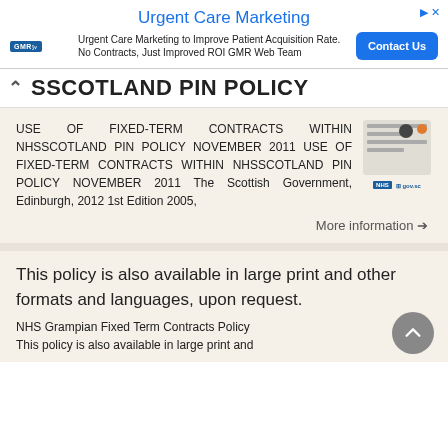[Figure (screenshot): Advertisement banner for Urgent Care Marketing by GMR Web Team with Contact Us button]
NHSSCOTLAND PIN POLICY
USE OF FIXED-TERM CONTRACTS WITHIN NHSSCOTLAND PIN POLICY NOVEMBER 2011 USE OF FIXED-TERM CONTRACTS WITHIN NHSSCOTLAND PIN POLICY NOVEMBER 2011 The Scottish Government, Edinburgh, 2012 1st Edition 2005,
More information →
This policy is also available in large print and other formats and languages, upon request.
NHS Grampian Fixed Term Contracts Policy This policy is also available in large print and